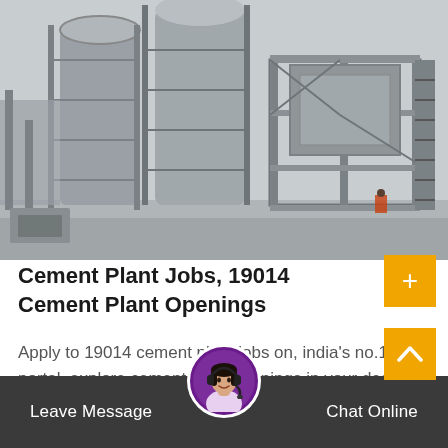[Figure (photo): Industrial cement plant under construction with tall cylindrical silos, metal scaffolding and structural steel framework against a grey sky]
Cement Plant Jobs, 19014 Cement Plant Openings
Apply to 19014 cement plant jobs on, india's no.1 job portal. explore cement plant openings in your desired locations now!
Leave Message   Chat Online